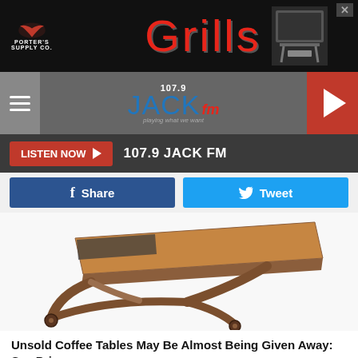[Figure (photo): Porter's Supply Co / Grills advertisement banner with red Grills text on black background and grill image on right]
[Figure (logo): 107.9 JACK fm radio station logo with navigation bar, hamburger menu on left and red play button on right]
LISTEN NOW ▶  107.9 JACK FM
[Figure (screenshot): Facebook Share button (blue) and Twitter Tweet button (light blue) side by side]
[Figure (photo): A wooden coffee table with X-shaped legs on white background, photographed at an angle]
Unsold Coffee Tables May Be Almost Being Given Away: See Prices
Unsold Coffee Tables
[Figure (photo): The Doorman advertisement: Update Your Home With A New Door! with green truck and Contact Us button]